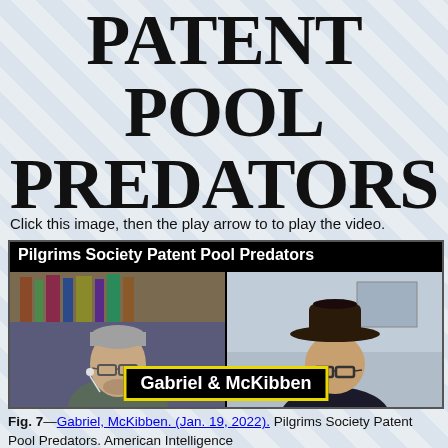PATENT POOL PREDATORS
Click this image, then the play arrow to to play the video.
[Figure (photo): Video thumbnail showing two men side by side. Title bar reads 'Pilgrims Society Patent Pool Predators'. Left person is an older man with gray hair and glasses. Right person is an older man wearing a dark cowboy hat and glasses. A name badge overlay reads 'Gabriel & McKibben'.]
Fig. 7—Gabriel, McKibben. (Jan. 19, 2022). Pilgrims Society Patent Pool Predators. American Intelligence